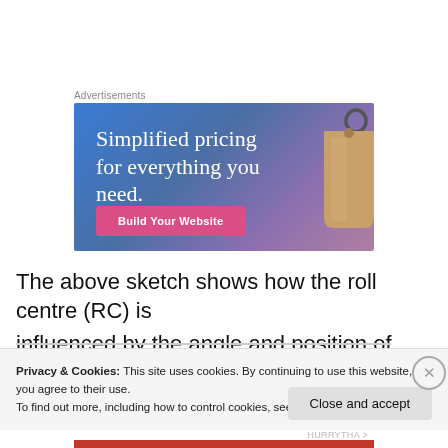Advertisements
[Figure (illustration): Advertisement banner with gradient blue-to-purple background. Text reads 'Simplified pricing for everything you need.' with a pink 'Build Your Website' button and a decorative price tag graphic on the right.]
The above sketch shows how the roll centre (RC) is influenced by the angle and position of the upper and
Privacy & Cookies: This site uses cookies. By continuing to use this website, you agree to their use.
To find out more, including how to control cookies, see here: Cookie Policy
Close and accept